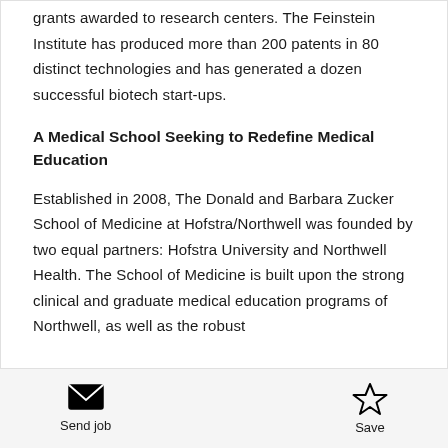grants awarded to research centers. The Feinstein Institute has produced more than 200 patents in 80 distinct technologies and has generated a dozen successful biotech start-ups.
A Medical School Seeking to Redefine Medical Education
Established in 2008, The Donald and Barbara Zucker School of Medicine at Hofstra/Northwell was founded by two equal partners: Hofstra University and Northwell Health. The School of Medicine is built upon the strong clinical and graduate medical education programs of Northwell, as well as the robust
Send job  Save